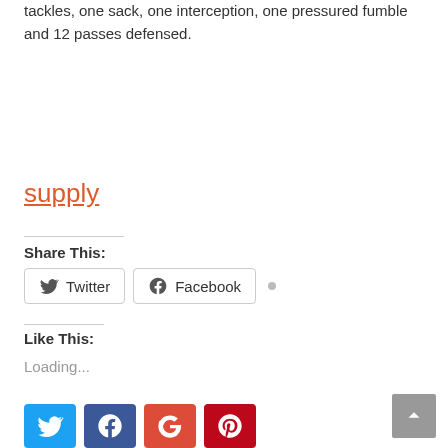tackles, one sack, one interception, one pressured fumble and 12 passes defensed.
supply
Share This:
Twitter  Facebook
Like This:
Loading...
[Figure (other): Social media icon buttons at bottom: Twitter (blue), Facebook (dark blue), Google (red/orange), Pinterest (red). Back-to-top arrow button at bottom right.]